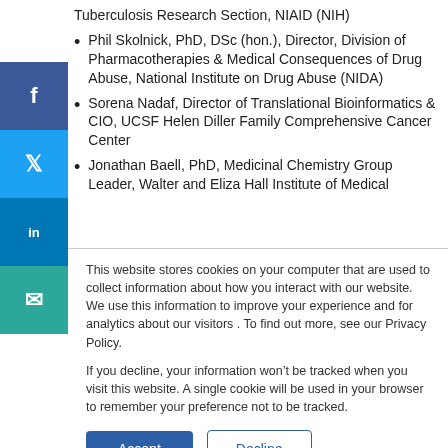Tuberculosis Research Section, NIAID (NIH)
Phil Skolnick, PhD, DSc (hon.), Director, Division of Pharmacotherapies & Medical Consequences of Drug Abuse, National Institute on Drug Abuse (NIDA)
Sorena Nadaf, Director of Translational Bioinformatics & CIO, UCSF Helen Diller Family Comprehensive Cancer Center
Jonathan Baell, PhD, Medicinal Chemistry Group Leader, Walter and Eliza Hall Institute of Medical
This website stores cookies on your computer that are used to collect information about how you interact with our website. We use this information to improve your experience and for analytics about our visitors . To find out more, see our Privacy Policy.
If you decline, your information won’t be tracked when you visit this website. A single cookie will be used in your browser to remember your preference not to be tracked.
Accept
Decline